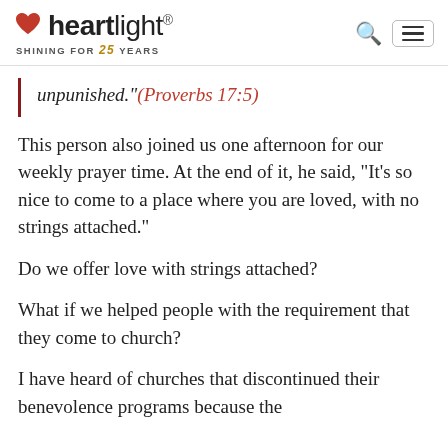heartlight® SHINING FOR 25 YEARS
unpunished."(Proverbs 17:5)
This person also joined us one afternoon for our weekly prayer time. At the end of it, he said, "It's so nice to come to a place where you are loved, with no strings attached."
Do we offer love with strings attached?
What if we helped people with the requirement that they come to church?
I have heard of churches that discontinued their benevolence programs because the